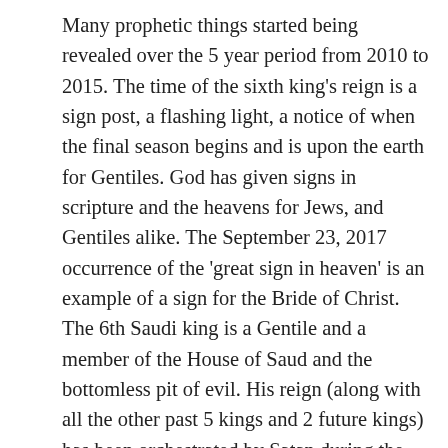Many prophetic things started being revealed over the 5 year period from 2010 to 2015. The time of the sixth king's reign is a sign post, a flashing light, a notice of when the final season begins and is upon the earth for Gentiles. God has given signs in scripture and the heavens for Jews, and Gentiles alike. The September 23, 2017 occurrence of the 'great sign in heaven' is an example of a sign for the Bride of Christ. The 6th Saudi king is a Gentile and a member of the House of Saud and the bottomless pit of evil. His reign (along with all the other past 5 kings and 2 future kings) has been orchestrated by Satan during the growth of this kingdom and the discovery of its bottomless wealth (oil). To a logical mind, clear and sober, this would indicate that God is saying that the age of grace for all Gentiles on earth is coming to a close. It is not important that we don't know if God considers 2005 or 2015 to be the beginning of the 'season of the time